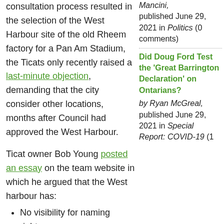consultation process resulted in the selection of the West Harbour site of the old Rheem factory for a Pan Am Stadium, the Ticats only recently raised a last-minute objection, demanding that the city consider other locations, months after Council had approved the West Harbour.
Ticat owner Bob Young posted an essay on the team website in which he argued that the West harbour has:
No visibility for naming rights;
Limited access for incoming traffic;
No parking; and
A poor fit with residential neighbours.
While most of Hamilton scratched their
Mancini, published June 29, 2021 in Politics (0 comments)
Did Doug Ford Test the 'Great Barrington Declaration' on Ontarians?
by Ryan McGreal, published June 29, 2021 in Special Report: COVID-19 (1